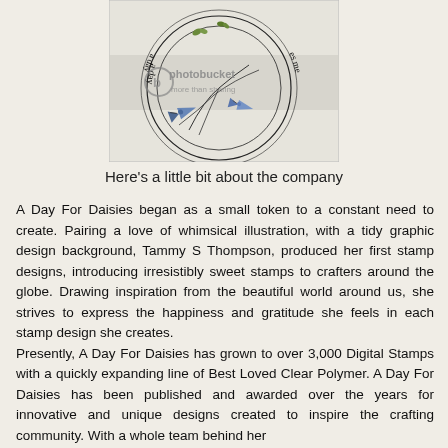[Figure (illustration): A circular stamp design by A Day For Daisies featuring whimsical blue birds on swirling vines with text curved around the circle reading 'a day' and 'es me', with a Photobucket watermark overlay on a light gray background.]
Here's a little bit about the company
A Day For Daisies began as a small token to a constant need to create. Pairing a love of whimsical illustration, with a tidy graphic design background, Tammy S Thompson, produced her first stamp designs, introducing irresistibly sweet stamps to crafters around the globe. Drawing inspiration from the beautiful world around us, she strives to express the happiness and gratitude she feels in each stamp design she creates.
Presently, A Day For Daisies has grown to over 3,000 Digital Stamps with a quickly expanding line of Best Loved Clear Polymer. A Day For Daisies has been published and awarded over the years for innovative and unique designs created to inspire the crafting community. With a whole team behind her